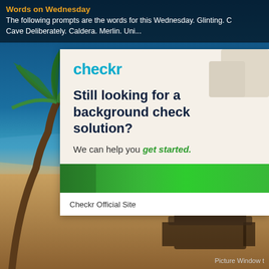Words on Wednesday
The following prompts are the words for this Wednesday. Glinting. Cave Deliberately. Caldera. Merlin. Uni...
[Figure (screenshot): Checkr advertisement card overlaid on a tropical beach background with palm trees. The ad reads: checkr - Still looking for a background check solution? We can help you get started. Checkr Official Site.]
Picture Window t